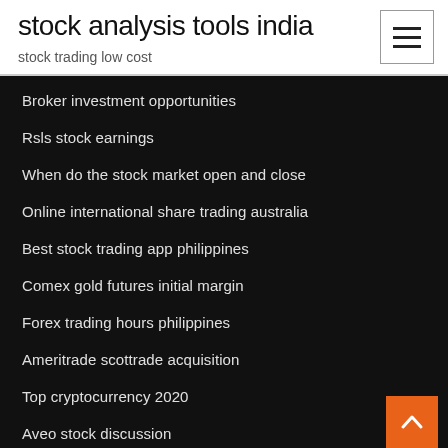stock analysis tools india
stock trading low cost
Broker investment opportunities
Rsls stock earnings
When do the stock market open and close
Online international share trading australia
Best stock trading app philippines
Comex gold futures initial margin
Forex trading hours philippines
Ameritrade scottrade acquisition
Top cryptocurrency 2020
Aveo stock discussion